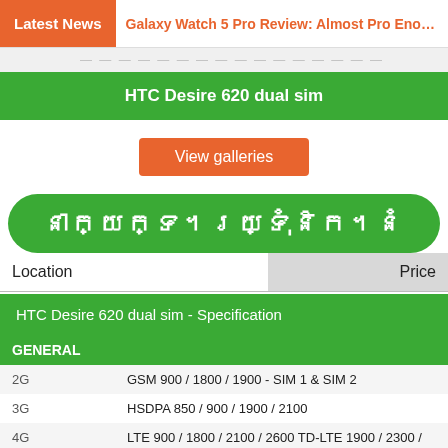Latest News | Galaxy Watch 5 Pro Review: Almost Pro Enough
HTC Desire 620 dual sim
View galleries
[Figure (other): Khmer script text on green pill-shaped banner]
| Location | Price |
| --- | --- |
HTC Desire 620 dual sim - Specification
| GENERAL |  |
| --- | --- |
| 2G | GSM 900 / 1800 / 1900 - SIM 1 & SIM 2 |
| 3G | HSDPA 850 / 900 / 1900 / 2100 |
| 4G | LTE 900 / 1800 / 2100 / 2600 TD-LTE 1900 / 2300 / 2600 |
| SIM | Dual SIM (Micro-SIM, dual stand-by) |
| Announced | 2014, December |